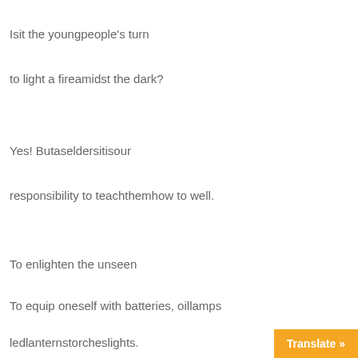Isit the youngpeople's turn
to light a fireamidst the dark?
Yes! Butaseldersitisour
responsibility to teachthemhow to well.
To enlighten the unseen
To equip oneself with batteries, oillamps
ledlanternstorcheslights.